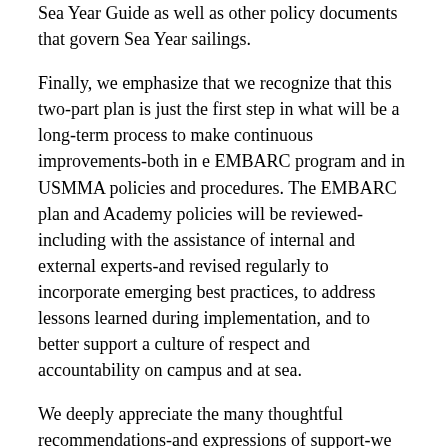Sea Year Guide as well as other policy documents that govern Sea Year sailings.
Finally, we emphasize that we recognize that this two-part plan is just the first step in what will be a long-term process to make continuous improvements-both in e EMBARC program and in USMMA policies and procedures. The EMBARC plan and Academy policies will be reviewed-including with the assistance of internal and external experts-and revised regularly to incorporate emerging best practices, to address lessons learned during implementation, and to better support a culture of respect and accountability on campus and at sea.
We deeply appreciate the many thoughtful recommendations-and expressions of support-we have received from you and from all stakeholders as we have worked to review existing policies and procedures and develop this plan. We will continue to seek your recommendations and your feedback on how new policies